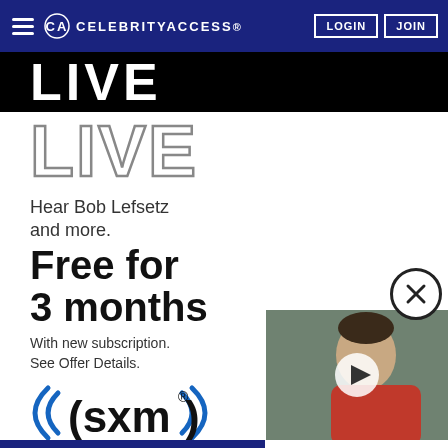CELEBRITYACCESS. LOGIN JOIN
[Figure (screenshot): SiriusXM advertisement showing LIVE text in black bar, LIVE outline text, Hear Bob Lefsetz and more, Free for 3 months, With new subscription. See Offer Details., SXM logo, device icons, close button, and video thumbnail of a soccer player]
Hear Bob Lefsetz and more.
Free for 3 months
With new subscription. See Offer Details.